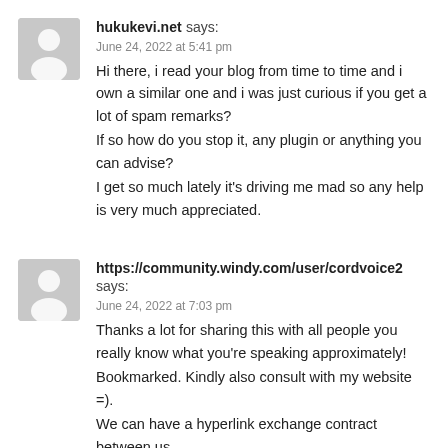hukukevi.net says:
June 24, 2022 at 5:41 pm
Hi there, i read your blog from time to time and i own a similar one and i was just curious if you get a lot of spam remarks?
If so how do you stop it, any plugin or anything you can advise?
I get so much lately it's driving me mad so any help is very much appreciated.
https://community.windy.com/user/cordvoice2 says:
June 24, 2022 at 7:03 pm
Thanks a lot for sharing this with all people you really know what you're speaking approximately!
Bookmarked. Kindly also consult with my website =).
We can have a hyperlink exchange contract between us